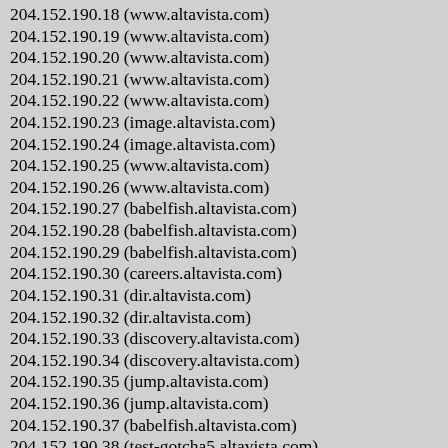204.152.190.18 (www.altavista.com)
204.152.190.19 (www.altavista.com)
204.152.190.20 (www.altavista.com)
204.152.190.21 (www.altavista.com)
204.152.190.22 (www.altavista.com)
204.152.190.23 (image.altavista.com)
204.152.190.24 (image.altavista.com)
204.152.190.25 (www.altavista.com)
204.152.190.26 (www.altavista.com)
204.152.190.27 (babelfish.altavista.com)
204.152.190.28 (babelfish.altavista.com)
204.152.190.29 (babelfish.altavista.com)
204.152.190.30 (careers.altavista.com)
204.152.190.31 (dir.altavista.com)
204.152.190.32 (dir.altavista.com)
204.152.190.33 (discovery.altavista.com)
204.152.190.34 (discovery.altavista.com)
204.152.190.35 (jump.altavista.com)
204.152.190.36 (jump.altavista.com)
204.152.190.37 (babelfish.altavista.com)
204.152.190.38 (test-gotcha5.altavista.com)
204.152.190.39 (svc1.marimba.alta-vista.net)